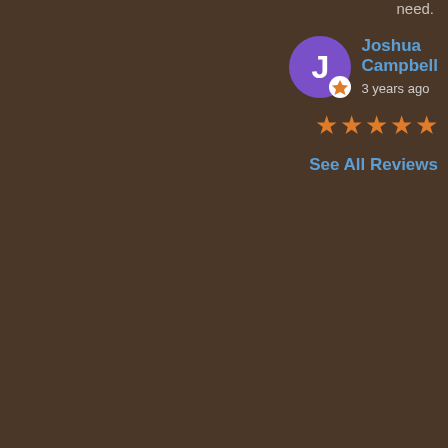need.
[Figure (other): Reviewer avatar circle with letter J and Google badge, reviewer name Joshua Campbell, 3 years ago, 5 orange stars]
See All Reviews
© Copyright 2008 - 2022   EAST TENNESSEE PROSTHODONTICS  |  All Rights Reserved  |  Privacy Practices
[Figure (other): Social media icons: Facebook, Twitter, LinkedIn, Instagram in dark grey circles]